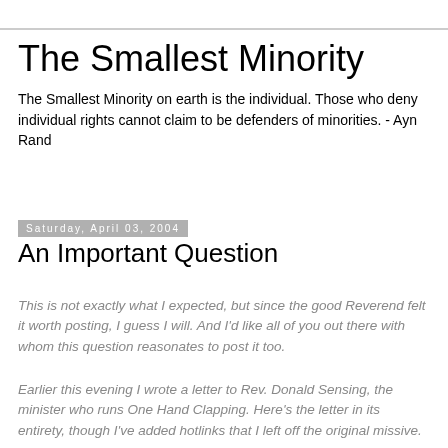The Smallest Minority
The Smallest Minority on earth is the individual. Those who deny individual rights cannot claim to be defenders of minorities. - Ayn Rand
Saturday, April 03, 2004
An Important Question
This is not exactly what I expected, but since the good Reverend felt it worth posting, I guess I will. And I'd like all of you out there with whom this question reasonates to post it too.
Earlier this evening I wrote a letter to Rev. Donald Sensing, the minister who runs One Hand Clapping. Here's the letter in its entirety, though I've added hotlinks that I left off the original missive.